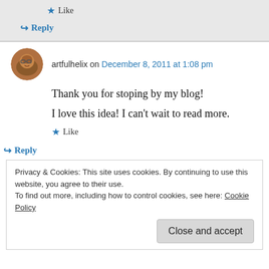★ Like
↪ Reply
artfulhelix on December 8, 2011 at 1:08 pm
Thank you for stoping by my blog!
I love this idea! I can't wait to read more.
★ Like
↪ Reply
Privacy & Cookies: This site uses cookies. By continuing to use this website, you agree to their use.
To find out more, including how to control cookies, see here: Cookie Policy
Close and accept